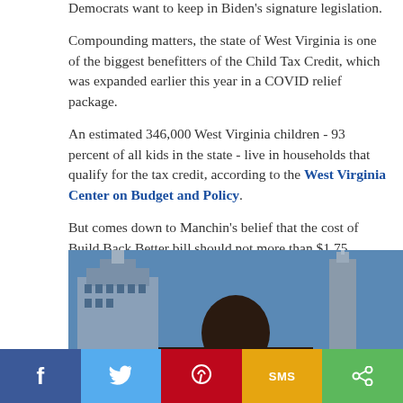Democrats want to keep in Biden's signature legislation.
Compounding matters, the state of West Virginia is one of the biggest benefitters of the Child Tax Credit, which was expanded earlier this year in a COVID relief package.
An estimated 346,000 West Virginia children - 93 percent of all kids in the state - live in households that qualify for the tax credit, according to the West Virginia Center on Budget and Policy.
[Figure (photo): Photo of a person with Capitol building and other architecture in the background]
Social share bar: Facebook, Twitter, Pinterest, SMS, Share